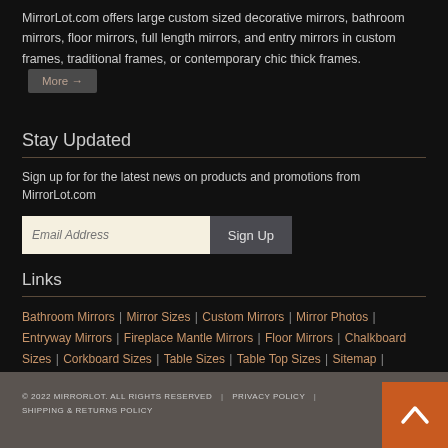MirrorLot.com offers large custom sized decorative mirrors, bathroom mirrors, floor mirrors, full length mirrors, and entry mirrors in custom frames, traditional frames, or contemporary chic thick frames. More →
Stay Updated
Sign up for for the latest news on products and promotions from MirrorLot.com
Links
Bathroom Mirrors | Mirror Sizes | Custom Mirrors | Mirror Photos | Entryway Mirrors | Fireplace Mantle Mirrors | Floor Mirrors | Chalkboard Sizes | Corkboard Sizes | Table Sizes | Table Top Sizes | Sitemap | Contact Us
© 2022 MIRRORLOT. ALL RIGHTS RESERVED | PRIVACY POLICY | SHIPPING & RETURNS POLICY